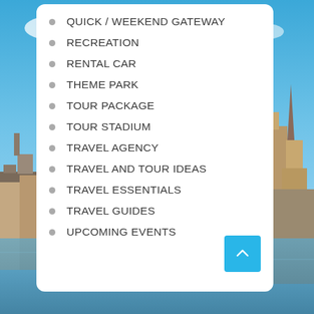[Figure (photo): Aerial/scenic photo of Stockholm city waterfront with blue sky, historic buildings and church spires in the background, used as a decorative full-page background]
QUICK / WEEKEND GATEWAY
RECREATION
RENTAL CAR
THEME PARK
TOUR PACKAGE
TOUR STADIUM
TRAVEL AGENCY
TRAVEL AND TOUR IDEAS
TRAVEL ESSENTIALS
TRAVEL GUIDES
UPCOMING EVENTS